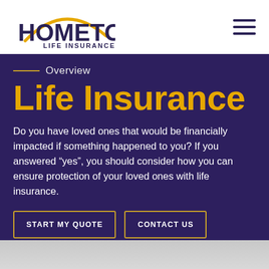[Figure (logo): Hometown Life Insurance logo with gold arc above text]
Overview
Life Insurance
Do you have loved ones that would be financially impacted if something happened to you? If you answered “yes”, you should consider how you can ensure protection of your loved ones with life insurance.
START MY QUOTE
CONTACT US